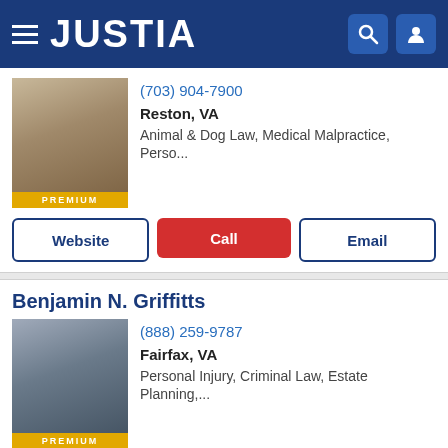JUSTIA
(703) 904-7900
Reston, VA
Animal & Dog Law, Medical Malpractice, Perso...
Website | Call | Email
Benjamin N. Griffitts
(888) 259-9787
Fairfax, VA
Personal Injury, Criminal Law, Estate Planning,...
Website | Call | Email
Famil A. Perso th...